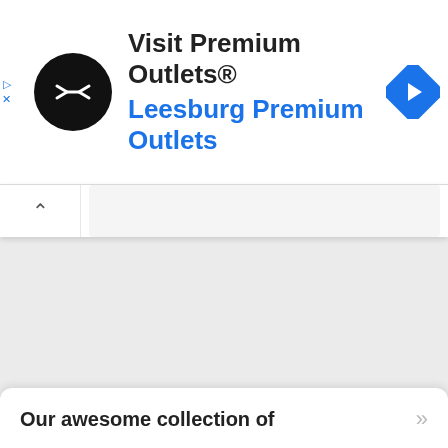[Figure (screenshot): Mobile advertisement banner for Premium Outlets showing circular black logo with white double-arrow symbol, text 'Visit Premium Outlets®' in dark and 'Leesburg Premium Outlets' in blue, and a blue diamond navigation icon on the right. Small play and close icons on the far left.]
[Figure (screenshot): Mobile browser search bar with a chevron/collapse button on the left and a grey input field on the right]
Our awesome collection of